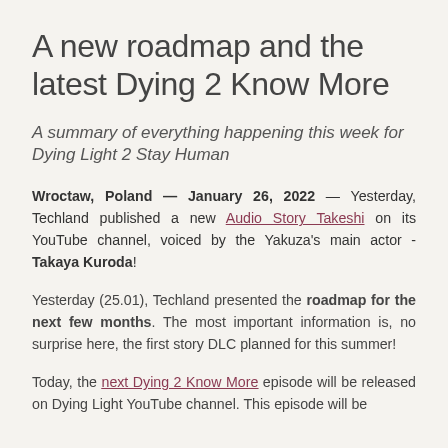A new roadmap and the latest Dying 2 Know More
A summary of everything happening this week for Dying Light 2 Stay Human
Wroctaw, Poland — January 26, 2022 — Yesterday, Techland published a new Audio Story Takeshi on its YouTube channel, voiced by the Yakuza's main actor - Takaya Kuroda!
Yesterday (25.01), Techland presented the roadmap for the next few months. The most important information is, no surprise here, the first story DLC planned for this summer!
Today, the next Dying 2 Know More episode will be released on Dying Light YouTube channel. This episode will be